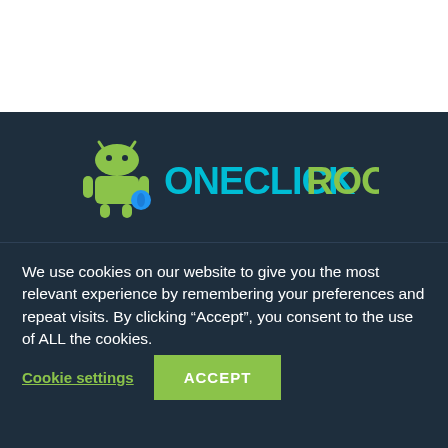[Figure (logo): OneClickRoot logo with green Android robot mascot and text 'ONECLICKROOT' in cyan and green on dark background]
We use cookies on our website to give you the most relevant experience by remembering your preferences and repeat visits. By clicking “Accept”, you consent to the use of ALL the cookies.
Cookie settings
ACCEPT